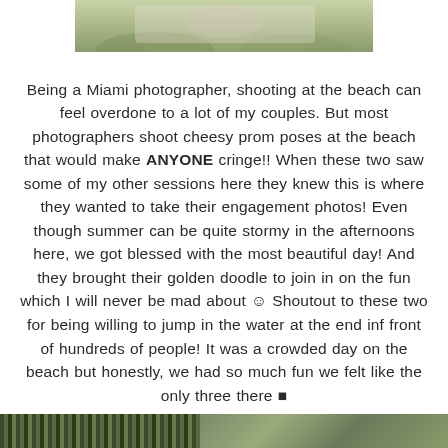[Figure (photo): Top portion of a photo showing two people outdoors on green grass, cropped at the top of the page]
Being a Miami photographer, shooting at the beach can feel overdone to a lot of my couples. But most photographers shoot cheesy prom poses at the beach that would make ANYONE cringe!! When these two saw some of my other sessions here they knew this is where they wanted to take their engagement photos! Even though summer can be quite stormy in the afternoons here, we got blessed with the most beautiful day! And they brought their golden doodle to join in on the fun which I will never be mad about ☺ Shoutout to these two for being willing to jump in the water at the end inf front of hundreds of people! It was a crowded day on the beach but honestly, we had so much fun we felt like the only three there 🖤
[Figure (photo): Bottom strip of photos showing foliage and outdoor greenery scenes]